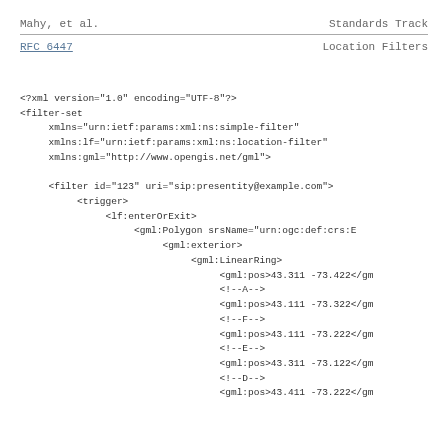Mahy, et al.                    Standards Track
RFC 6447                        Location Filters
<?xml version="1.0" encoding="UTF-8"?>
<filter-set
     xmlns="urn:ietf:params:xml:ns:simple-filter"
     xmlns:lf="urn:ietf:params:xml:ns:location-filter"
     xmlns:gml="http://www.opengis.net/gml">

     <filter id="123" uri="sip:presentity@example.com">
          <trigger>
               <lf:enterOrExit>
                    <gml:Polygon srsName="urn:ogc:def:crs:E
                         <gml:exterior>
                              <gml:LinearRing>
                                   <gml:pos>43.311 -73.422</gm
                                   <!--A-->
                                   <gml:pos>43.111 -73.322</gm
                                   <!--F-->
                                   <gml:pos>43.111 -73.222</gm
                                   <!--E-->
                                   <gml:pos>43.311 -73.122</gm
                                   <!--D-->
                                   <gml:pos>43.411 -73.222</gm